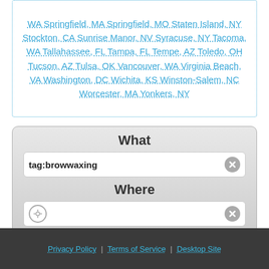WA Springfield, MA Springfield, MO Staten Island, NY Stockton, CA Sunrise Manor, NV Syracuse, NY Tacoma, WA Tallahassee, FL Tampa, FL Tempe, AZ Toledo, OH Tucson, AZ Tulsa, OK Vancouver, WA Virginia Beach, VA Washington, DC Wichita, KS Winston-Salem, NC Worcester, MA Yonkers, NY
What
tag:browwaxing
Where
[location input field]
Find
Privacy Policy | Terms of Service | Desktop Site